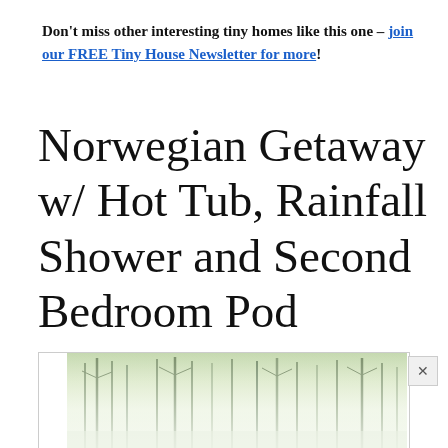Don't miss other interesting tiny homes like this one – join our FREE Tiny House Newsletter for more!
Norwegian Getaway w/ Hot Tub, Rainfall Shower and Second Bedroom Pod
[Figure (photo): Photograph of a Norwegian forest scene with tall pine trees in a wintry, misty landscape, partially cropped]